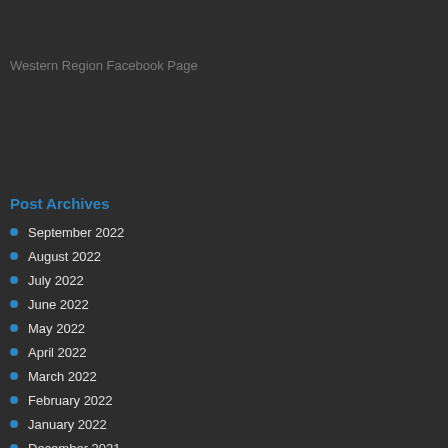Western Region Facebook Page
Post Archives
September 2022
August 2022
July 2022
June 2022
May 2022
April 2022
March 2022
February 2022
January 2022
December 2021
November 2021
October 2021